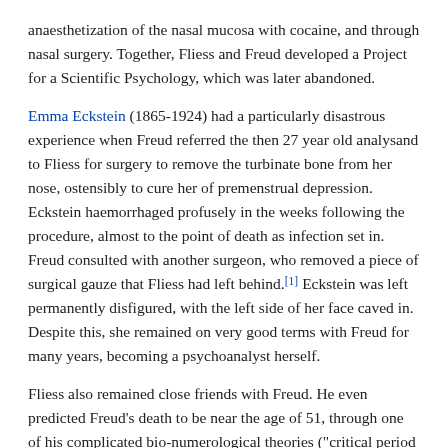anaesthetization of the nasal mucosa with cocaine, and through nasal surgery. Together, Fliess and Freud developed a Project for a Scientific Psychology, which was later abandoned.
Emma Eckstein (1865-1924) had a particularly disastrous experience when Freud referred the then 27 year old analysand to Fliess for surgery to remove the turbinate bone from her nose, ostensibly to cure her of premenstrual depression. Eckstein haemorrhaged profusely in the weeks following the procedure, almost to the point of death as infection set in. Freud consulted with another surgeon, who removed a piece of surgical gauze that Fliess had left behind.[1] Eckstein was left permanently disfigured, with the left side of her face caved in. Despite this, she remained on very good terms with Freud for many years, becoming a psychoanalyst herself.
Fliess also remained close friends with Freud. He even predicted Freud's death to be near the age of 51, through one of his complicated bio-numerological theories ("critical period calculations"). Their friendship, however did not last to see that prediction out: in 1904 their friendship disintegrated due to Fliess's